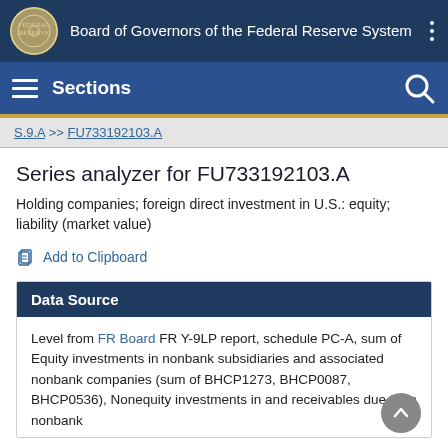Board of Governors of the Federal Reserve System
Sections
S.9.A >> FU733192103.A
Series analyzer for FU733192103.A
Holding companies; foreign direct investment in U.S.: equity; liability (market value)
Add to Clipboard
Data Source
Level from FR Board FR Y-9LP report, schedule PC-A, sum of Equity investments in nonbank subsidiaries and associated nonbank companies (sum of BHCP1273, BHCP0087, BHCP0536), Nonequity investments in and receivables due from nonbank